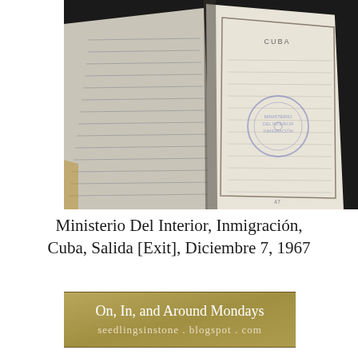[Figure (photo): Open passport or official document showing a blank page with a faded circular official stamp (purple/blue ink), with ruled lines visible on the left page. Document is lying on a dark surface with warm-toned lighting.]
Ministerio Del Interior, Inmigración, Cuba, Salida [Exit], Diciembre 7, 1967
[Figure (illustration): Banner/logo image with olive/tan textured background. Text 'On, In, and Around Mondays' in white serif font, and below it 'seedlingsinstone.blogspot.com' in lighter text.]